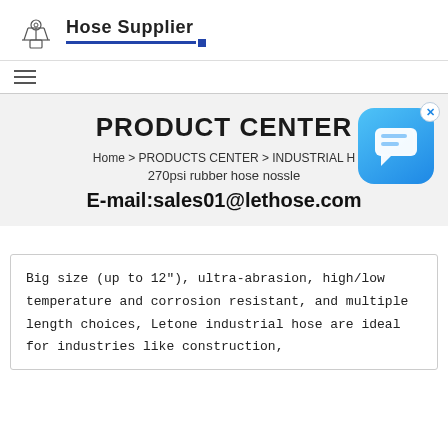Hose Supplier
PRODUCT CENTER
Home > PRODUCTS CENTER > INDUSTRIAL H... 270psi rubber hose nossle
E-mail:sales01@lethose.com
Big size (up to 12"), ultra-abrasion, high/low temperature and corrosion resistant, and multiple length choices, Letone industrial hose are ideal for industries like construction,